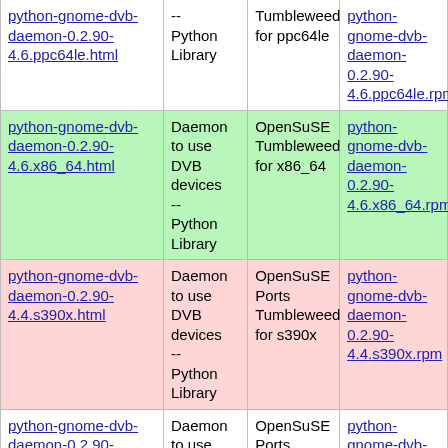| python-gnome-dvb-daemon-0.2.90-4.6.ppc64le.html [partial/top cut off] | -- Python Library | Tumbleweed for ppc64le | python-gnome-dvb-daemon-0.2.90-4.6.ppc64le.rpm [partial/top cut off] |
| python-gnome-dvb-daemon-0.2.90-4.6.x86_64.html | Daemon to use DVB devices -- Python Library | OpenSuSE Tumbleweed for x86_64 | python-gnome-dvb-daemon-0.2.90-4.6.x86_64.rpm |
| python-gnome-dvb-daemon-0.2.90-4.4.s390x.html | Daemon to use DVB devices -- Python Library | OpenSuSE Ports Tumbleweed for s390x | python-gnome-dvb-daemon-0.2.90-4.4.s390x.rpm |
| python-gnome-dvb-daemon-0.2.90-4.2.riscv64.html | Daemon to use DVB devices -- Python Library | OpenSuSE Ports Tumbleweed for riscv64 | python-gnome-dvb-daemon-0.2.90-4.2.riscv64.rpm |